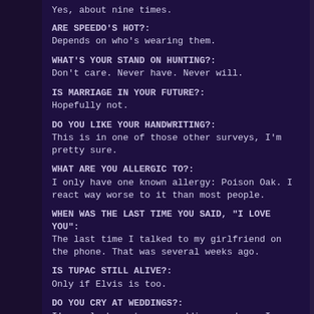Yes, about nine times.
ARE SPEEDO'S HOT?: Depends on who's wearing them.
WHAT'S YOUR STAND ON HUNTING?: Don't care. Never have. Never will.
IS MARRIAGE IN YOUR FUTURE?: Hopefully not.
DO YOU LIKE YOUR HANDWRITING?: This is in one of those other surveys, I'm pretty sure.
WHAT ARE YOU ALLERGIC TO?: I only have one known allergy: Poison Oak. I react way worse to it than most people.
WHEN WAS THE LAST TIME YOU SAID, "I LOVE YOU": The last time I talked to my girlfriend on the phone. That was several weeks ago.
IS TUPAC STILL ALIVE?: Only if Elvis is too.
DO YOU CRY AT WEDDINGS?: I've only been to one wedding, and no, I didn't cry.
HOW DO YOU LIKE YOUR EGGS?: